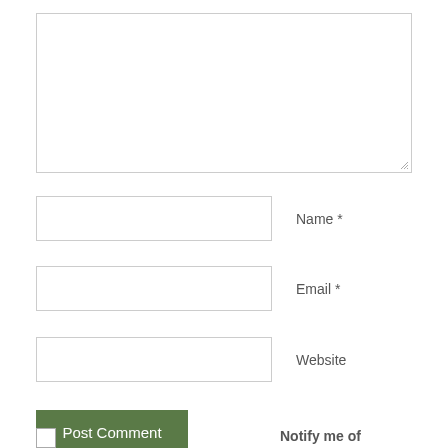[Figure (screenshot): Large text area input box with resize handle at bottom-right corner]
Name *
Email *
Website
Post Comment
Notify me of